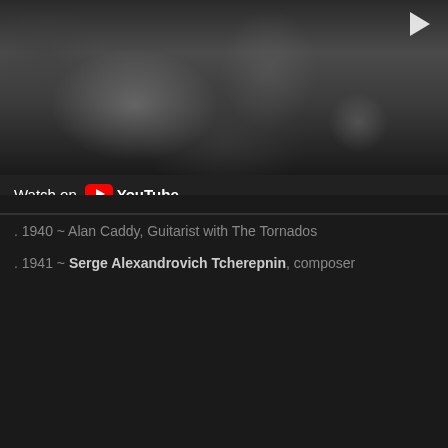[Figure (screenshot): YouTube video thumbnail showing a black and white blurry photo of people/crowd, with a play button in the top right corner]
Watch on YouTube
. 1940 ~ Alan Caddy, Guitarist with The Tornados
. 1941 ~ Serge Alexandrovich Tcherepnin, composer
[Figure (screenshot): YouTube video embed showing 'Tcherepnin Bagatelle op. 5 no. 1 (with score' with musical sheet score visible and a play button overlay]